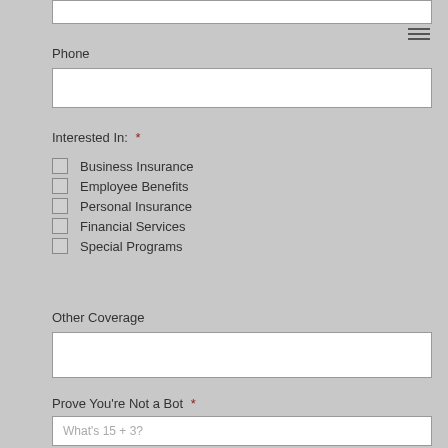Phone
Interested In: *
Business Insurance
Employee Benefits
Personal Insurance
Financial Services
Special Programs
Other Coverage
Prove You're Not a Bot *
What's 15 + 3?